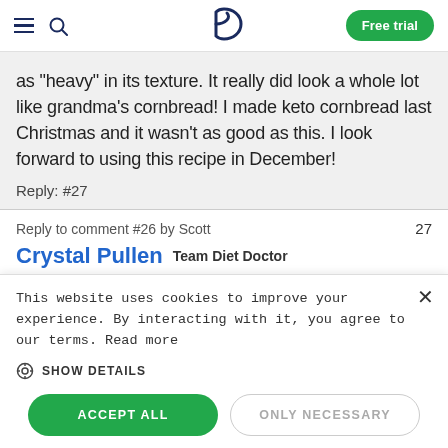Diet Doctor — Free trial
as "heavy" in its texture. It really did look a whole lot like grandma's cornbread! I made keto cornbread last Christmas and it wasn't as good as this. I look forward to using this recipe in December!
Reply: #27
Reply to comment #26 by Scott  27
Crystal Pullen  Team Diet Doctor
October 9, 2020
This website uses cookies to improve your experience. By interacting with it, you agree to our terms. Read more
SHOW DETAILS
ACCEPT ALL
ONLY NECESSARY